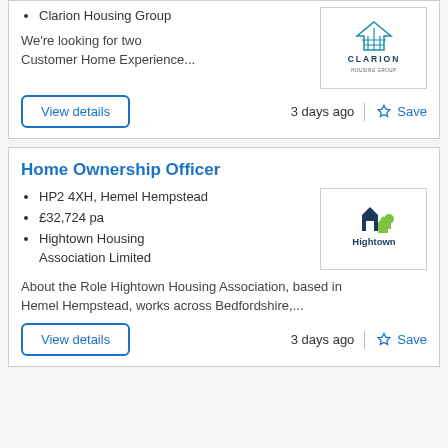Clarion Housing Group
We're looking for two Customer Home Experience...
View details
3 days ago
Save
Home Ownership Officer
HP2 4XH, Hemel Hempstead
£32,724 pa
Hightown Housing Association Limited
About the Role Hightown Housing Association, based in Hemel Hempstead, works across Bedfordshire,...
View details
3 days ago
Save